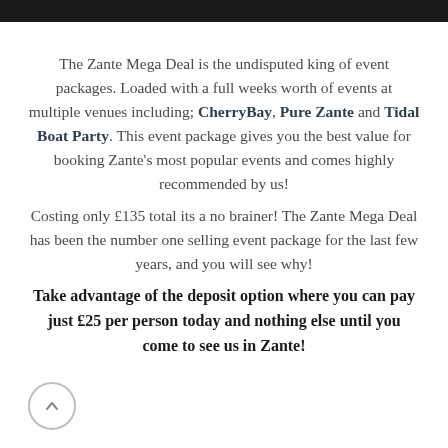The Zante Mega Deal is the undisputed king of event packages. Loaded with a full weeks worth of events at multiple venues including; CherryBay, Pure Zante and Tidal Boat Party. This event package gives you the best value for booking Zante's most popular events and comes highly recommended by us!
Costing only £135 total its a no brainer! The Zante Mega Deal has been the number one selling event package for the last few years, and you will see why!
Take advantage of the deposit option where you can pay just £25 per person today and nothing else until you come to see us in Zante!